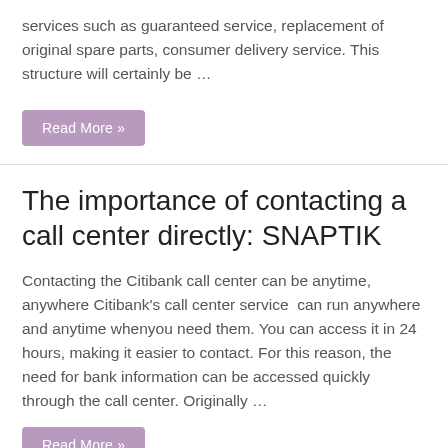services such as guaranteed service, replacement of original spare parts, consumer delivery service. This structure will certainly be …
Read More »
The importance of contacting a call center directly: SNAPTIK
Contacting the Citibank call center can be anytime, anywhere Citibank's call center service  can run anywhere and anytime whenyou need them. You can access it in 24 hours, making it easier to contact. For this reason, the need for bank information can be accessed quickly through the call center. Originally …
Read More »
Steps to contact call centers in an online store: YTMP3